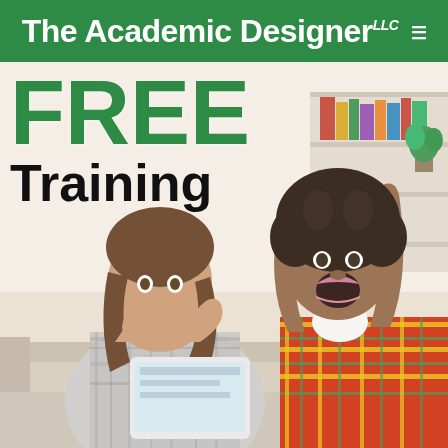The Academic Designer llc
[Figure (photo): Two young women sitting on a couch, one with long brown hair looking shocked with hand over mouth looking at a tablet, the other with curly hair raising both arms in excitement with mouth open, in a bright living room setting]
FREE Training